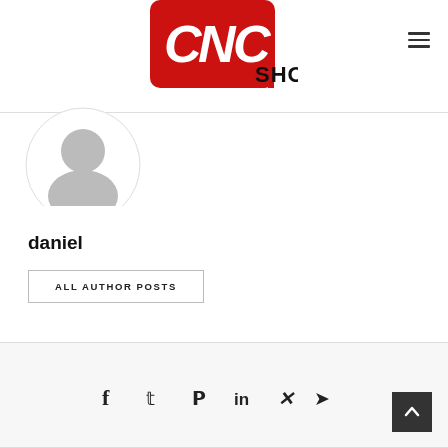[Figure (logo): CNC Shop logo — red rounded rectangle with white CNC letters and black SHOP text]
[Figure (illustration): Default grey avatar/profile picture circle]
daniel
ALL AUTHOR POSTS
[Figure (infographic): Social media share icons row: Facebook, Twitter, Pinterest, LinkedIn, Xing, Telegram]
Back to top button